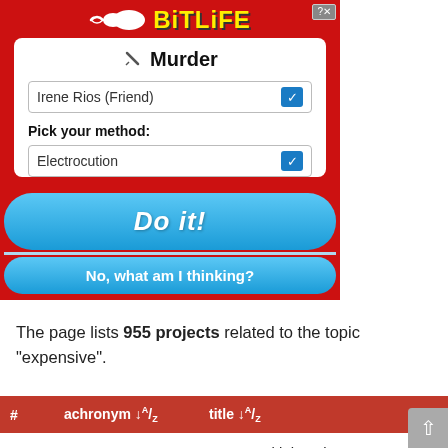[Figure (screenshot): BitLife mobile game advertisement banner showing a 'Murder' screen with victim 'Irene Rios (Friend)' and method 'Electrocution' selected, with 'Do it!' and 'No, what am I thinking?' buttons, on a red background.]
The page lists 955 projects related to the topic "expensive".
| # | acronym ↓A/Z | title ↓A/Z |
| --- | --- | --- |
| 1 | GLAM | Laser Multiplexed B… |
| 2 | nextBioPharmDSP | Next-generation bio downstream proce… |